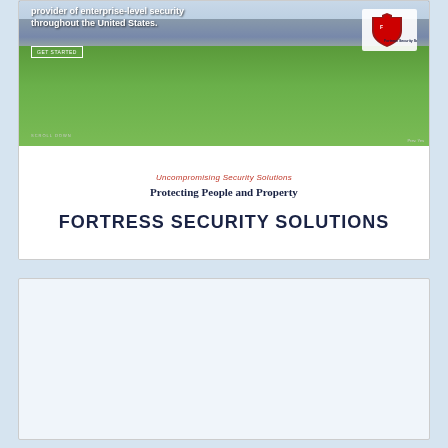[Figure (screenshot): Screenshot of Fortress Security Solutions website hero section showing a park/city background image with bold white text 'provider of enterprise-level security throughout the United States.' and a GET STARTED button, plus shield logo in top right. Below the hero image is white section with red italic text 'Uncompromising Security Solutions', serif text 'Protecting People and Property', and bold navy text 'FORTRESS SECURITY SOLUTIONS'.]
[Figure (screenshot): Lower portion of website screenshot showing a light blue-gray empty content area.]